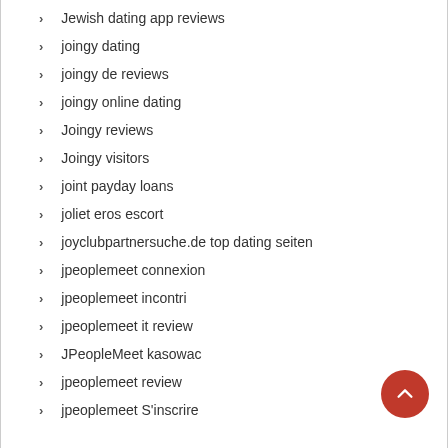Jewish dating app reviews
joingy dating
joingy de reviews
joingy online dating
Joingy reviews
Joingy visitors
joint payday loans
joliet eros escort
joyclubpartnersuche.de top dating seiten
jpeoplemeet connexion
jpeoplemeet incontri
jpeoplemeet it review
JPeopleMeet kasowac
jpeoplemeet review
jpeoplemeet S'inscrire